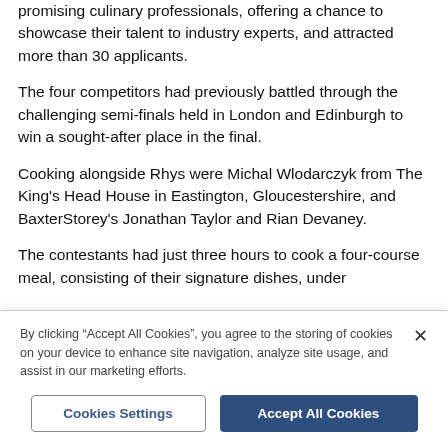promising culinary professionals, offering a chance to showcase their talent to industry experts, and attracted more than 30 applicants.
The four competitors had previously battled through the challenging semi-finals held in London and Edinburgh to win a sought-after place in the final.
Cooking alongside Rhys were Michal Wlodarczyk from The King's Head House in Eastington, Gloucestershire, and BaxterStorey's Jonathan Taylor and Rian Devaney.
The contestants had just three hours to cook a four-course meal, consisting of their signature dishes, under
By clicking "Accept All Cookies", you agree to the storing of cookies on your device to enhance site navigation, analyze site usage, and assist in our marketing efforts.
Cookies Settings
Accept All Cookies